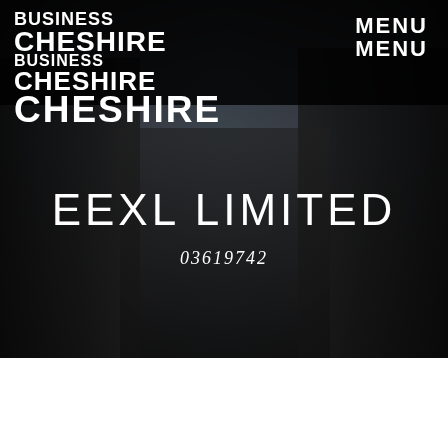[Figure (photo): Street scene of Chester, UK with black and white timbered buildings, pedestrians on a high street, dark overlay, used as a hero background image]
BUSINESS
CHESHIRE
BUSINESS
CHESHIRE
CHESHIRE  MENU
MENU
EEXL LIMITED
03619742